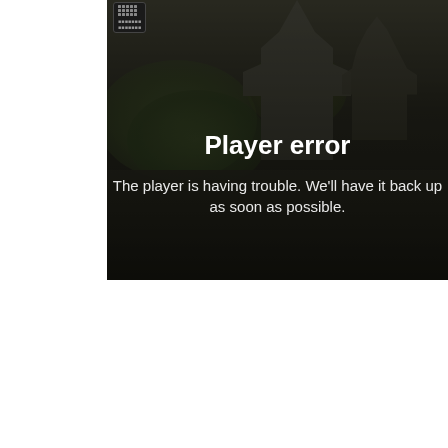[Figure (screenshot): Video player error screen showing a darkened aerial photograph of a Japanese castle (Kumamoto Castle) with trees and grounds, overlaid with a player error message. A small logo/button is visible in the top-left corner of the player.]
Player error
The player is having trouble. We'll have it back up as soon as possible.